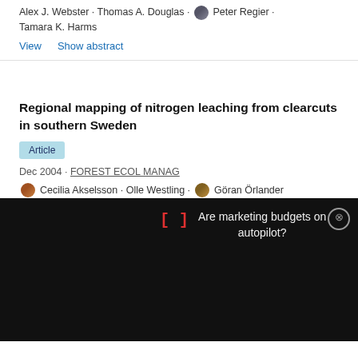Alex J. Webster · Thomas A. Douglas · Peter Regier · Tamara K. Harms
View   Show abstract
Regional mapping of nitrogen leaching from clearcuts in southern Sweden
Article
Dec 2004 · FOREST ECOL MANAG
Cecilia Akselsson · Olle Westling · Göran Örlander
[Figure (screenshot): Ad overlay banner with red bracket icon and text: Are marketing budgets on autopilot?]
TMT Symposium: Multiplexing for the Masses